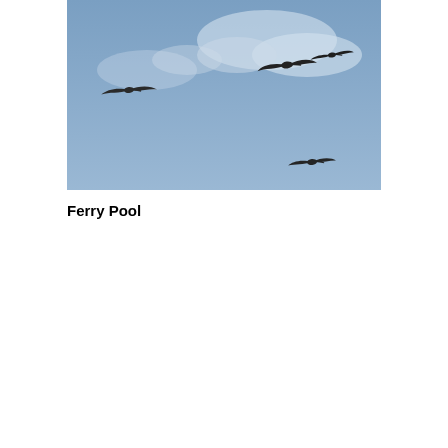[Figure (photo): Birds in flight against a blue cloudy sky. Several dark silhouetted birds are visible flying at different positions across the frame.]
Ferry Pool
We use cookies on our website to see how you interact with it. By accepting, you agree to our use of such cookies. Privacy Policy
Decline All
Accept
Settings